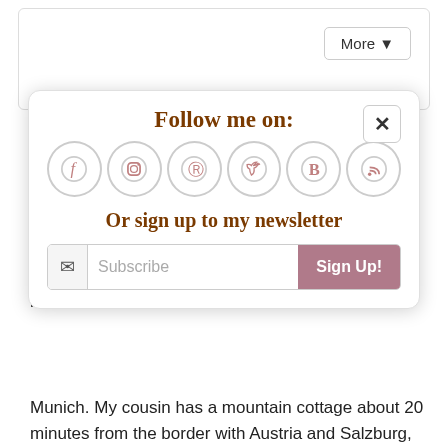More ▾
Corey at fifi + hop says:
May 6, 2017 at 3:28 am
Such a great and comprehensive itinerary recommendation! I want to go everywhere! Love all the castles and palaces, and that emerald green lake is
[Figure (infographic): Follow me on: popup with social media icons (Facebook, Instagram, Pinterest, Twitter, Bloglovin, RSS) and newsletter signup with Subscribe input and Sign Up! button. Includes a close (x) button in top right corner.]
Munich. My cousin has a mountain cottage about 20 minutes from the border with Austria and Salzburg,